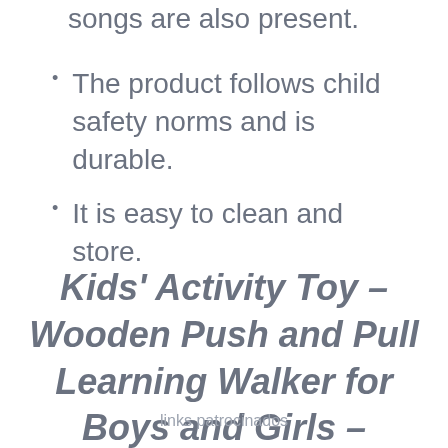songs are also present.
The product follows child safety norms and is durable.
It is easy to clean and store.
Kids' Activity Toy – Wooden Push and Pull Learning Walker for Boys and Girls – Multiple Activities Center
links patrocinados